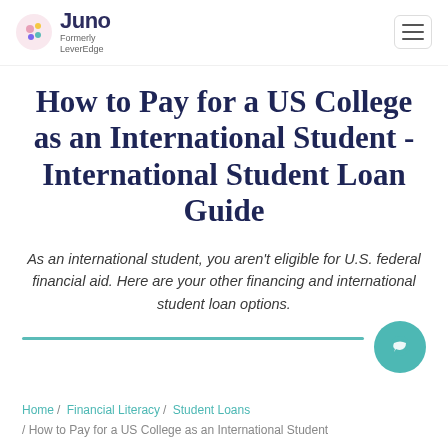Juno — Formerly LeverEdge
How to Pay for a US College as an International Student - International Student Loan Guide
As an international student, you aren't eligible for U.S. federal financial aid. Here are your other financing and international student loan options.
Home / Financial Literacy / Student Loans / How to Pay for a US College as an International Student